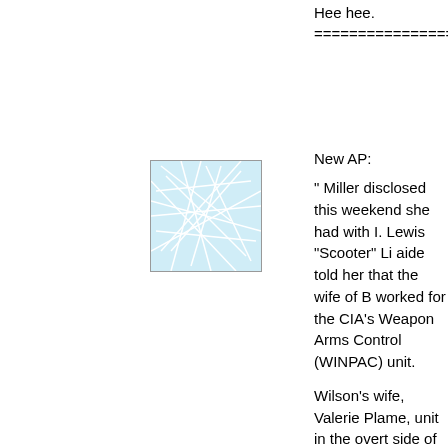Hee hee.
=====================
[Figure (illustration): Small square avatar/icon image with light blue background showing a network or web-like pattern of intersecting lines]
New AP:
" Miller disclosed this weekend she had with I. Lewis "Scooter" Li aide told her that the wife of B worked for the CIA's Weapon Arms Control (WINPAC) unit.
Wilson's wife, Valerie Plame, unit in the overt side of the CI the CIA's secret side, known according to three people fam
The three all spoke on condit secrecy requirements of Spe jury investigation into the lea media.
Whether it came from Libby o prosecutors and investigators significant for Fitz...